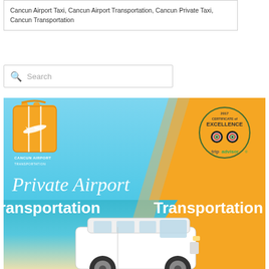Cancun Airport Taxi, Cancun Airport Transportation, Cancun Private Taxi, Cancun Transportation
[Figure (other): Search box with magnifying glass icon and placeholder text 'Search']
[Figure (illustration): Cancun Airport Transportation promotional banner showing a white van, beach/sky background, orange diagonal section, company logo with suitcase and airplane, TripAdvisor 2017 Certificate of Excellence badge, and text 'Private Airport Transportation' in white italic script and bold fonts.]